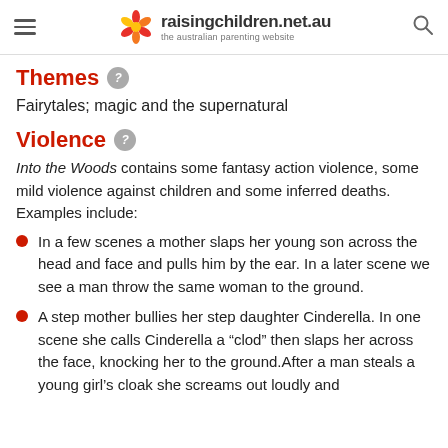raisingchildren.net.au — the australian parenting website
Themes
Fairytales; magic and the supernatural
Violence
Into the Woods contains some fantasy action violence, some mild violence against children and some inferred deaths. Examples include:
In a few scenes a mother slaps her young son across the head and face and pulls him by the ear. In a later scene we see a man throw the same woman to the ground.
A step mother bullies her step daughter Cinderella. In one scene she calls Cinderella a “clod” then slaps her across the face, knocking her to the ground.After a man steals a young girl’s cloak she screams out loudly and the child cries loudly throughout.